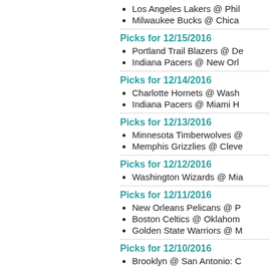Los Angeles Lakers @ Phil
Milwaukee Bucks @ Chica
Picks for 12/15/2016
Portland Trail Blazers @ De
Indiana Pacers @ New Orl
Picks for 12/14/2016
Charlotte Hornets @ Wash
Indiana Pacers @ Miami H
Picks for 12/13/2016
Minnesota Timberwolves @
Memphis Grizzlies @ Cleve
Picks for 12/12/2016
Washington Wizards @ Mia
Picks for 12/11/2016
New Orleans Pelicans @ P
Boston Celtics @ Oklahom
Golden State Warriors @ M
Picks for 12/10/2016
Brooklyn @ San Antonio: C
Golden State @ Memphis G
Miami @ Chicago: Miami +